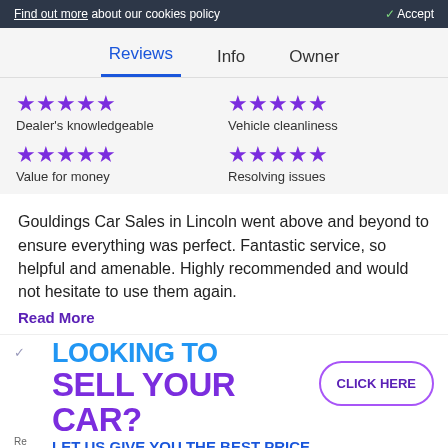Find out more about our cookies policy   ✓ Accept
Reviews  Info  Owner
★★★★★ Dealer's knowledgeable
★★★★★ Value for money
★★★★★ Vehicle cleanliness
★★★★★ Resolving issues
Gouldings Car Sales in Lincoln went above and beyond to ensure everything was perfect. Fantastic service, so helpful and amenable. Highly recommended and would not hesitate to use them again.
Read More
[Figure (infographic): Advertisement banner: LOOKING TO SELL YOUR CAR? LET US GIVE YOU THE BEST PRICE with CLICK HERE button]